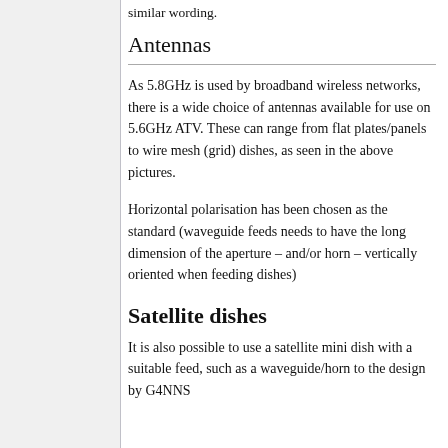similar wording.
Antennas
As 5.8GHz is used by broadband wireless networks, there is a wide choice of antennas available for use on 5.6GHz ATV. These can range from flat plates/panels to wire mesh (grid) dishes, as seen in the above pictures.
Horizontal polarisation has been chosen as the standard (waveguide feeds needs to have the long dimension of the aperture – and/or horn – vertically oriented when feeding dishes)
Satellite dishes
It is also possible to use a satellite mini dish with a suitable feed, such as a waveguide/horn to the design by G4NNS